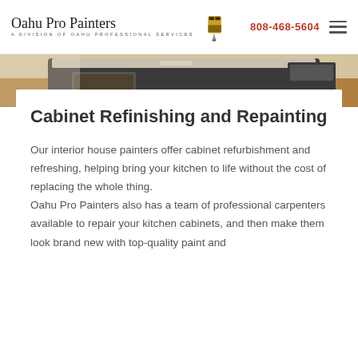Oahu Pro Painters — A Division of Oahu Professional Services | 808-468-5604
[Figure (photo): Partial view of a dark kitchen cabinet island with drawer open, showing kitchen interior background]
Cabinet Refinishing and Repainting
Our interior house painters offer cabinet refurbishment and refreshing, helping bring your kitchen to life without the cost of replacing the whole thing. Oahu Pro Painters also has a team of professional carpenters available to repair your kitchen cabinets, and then make them look brand new with top-quality paint and